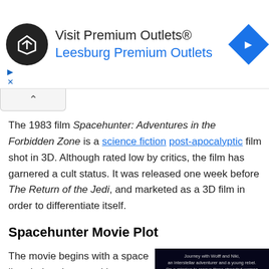[Figure (infographic): Advertisement banner for Premium Outlets / Leesburg Premium Outlets with logo, text, and navigation arrow icon]
The 1983 film Spacehunter: Adventures in the Forbidden Zone is a science fiction post-apocalyptic film shot in 3D. Although rated low by critics, the film has garnered a cult status. It was released one week before The Return of the Jedi, and marketed as a 3D film in order to differentiate itself.
Spacehunter Movie Plot
The movie begins with a space liner being destroyed by some form of space lightning. Only three women survive
[Figure (photo): Spacehunter: Adventures in the Forbidden Zone movie poster — dark background with blue glowing title text and tagline text above]